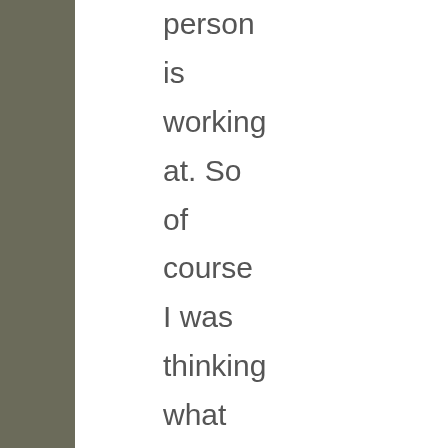person is working at. So of course I was thinking what my area would be. Well, it became a bit complicated because I am experienced in